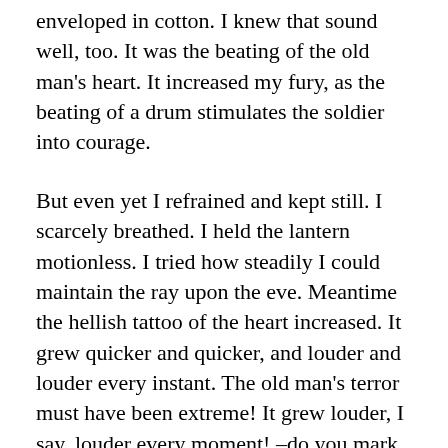enveloped in cotton. I knew that sound well, too. It was the beating of the old man's heart. It increased my fury, as the beating of a drum stimulates the soldier into courage.
But even yet I refrained and kept still. I scarcely breathed. I held the lantern motionless. I tried how steadily I could maintain the ray upon the eve. Meantime the hellish tattoo of the heart increased. It grew quicker and quicker, and louder and louder every instant. The old man's terror must have been extreme! It grew louder, I say, louder every moment! –do you mark me well I have told you that I am nervous: so I am. And now at the dead hour of the night, amid the dreadful silence of that old house, so strange a noise as this excited me to uncontrollable terror. Yet for